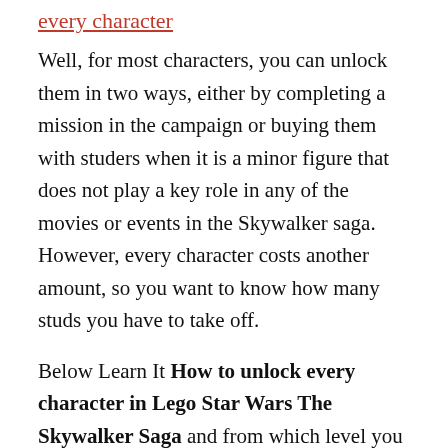every character
Well, for most characters, you can unlock them in two ways, either by completing a mission in the campaign or buying them with studers when it is a minor figure that does not play a key role in any of the movies or events in the Skywalker saga. However, every character costs another amount, so you want to know how many studs you have to take off.
Below Learn It How to unlock every character in Lego Star Wars The Skywalker Saga and from which level you come or how much money you have to spend to unlock them in free game and beyond.
Lego Star Wars The Skywalker